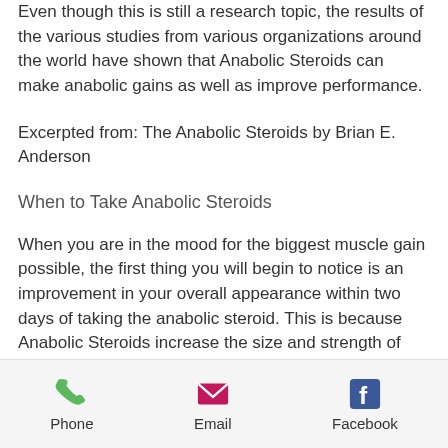Even though this is still a research topic, the results of the various studies from various organizations around the world have shown that Anabolic Steroids can make anabolic gains as well as improve performance.
Excerpted from: The Anabolic Steroids by Brian E. Anderson
When to Take Anabolic Steroids
When you are in the mood for the biggest muscle gain possible, the first thing you will begin to notice is an improvement in your overall appearance within two days of taking the anabolic steroid. This is because Anabolic Steroids increase the size and strength of your muscles and therefore increase your strength, but also give you
Phone   Email   Facebook